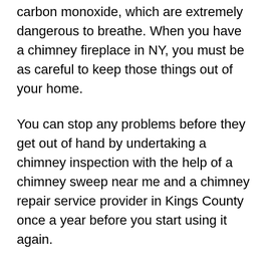carbon monoxide, which are extremely dangerous to breathe. When you have a chimney fireplace in NY, you must be as careful to keep those things out of your home.
You can stop any problems before they get out of hand by undertaking a chimney inspection with the help of a chimney sweep near me and a chimney repair service provider in Kings County once a year before you start using it again.
During the chimney inspection, the technician in Williamsburg, NY, may discover that your damper is defective or wholly broken or that your flue and liner are blocked. When smoke and carbon monoxide don't have a clear path out of your